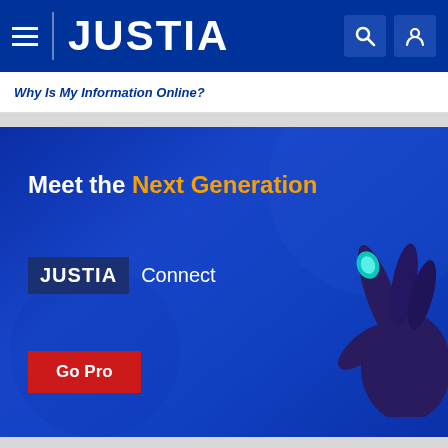[Figure (screenshot): Justia website screenshot showing navigation bar with hamburger menu, Justia logo, search and user icons on dark blue background]
Why Is My Information Online?
[Figure (infographic): Justia Connect promotional banner on blue background with text 'Meet the Next Generation', Justia Connect logo, hand illustration, and 'Go Pro' red button]